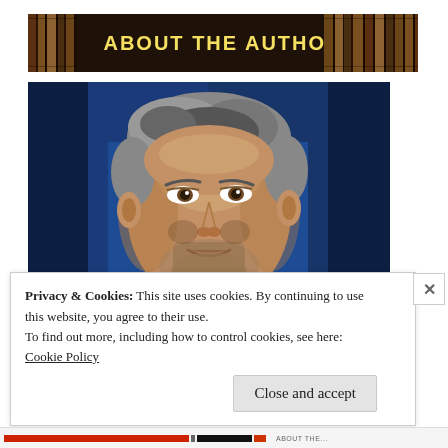[Figure (illustration): Banner header image showing 'ABOUT THE AUTHOR' text in bold yellow letters on a dark background with book spines visible on both sides]
[Figure (photo): Portrait photo of a middle-aged man with gray-streaked hair and a beard, wearing a dark turtleneck, against a blue background. Headshot/professional author photo.]
Privacy & Cookies: This site uses cookies. By continuing to use this website, you agree to their use.
To find out more, including how to control cookies, see here:
Cookie Policy
Close and accept